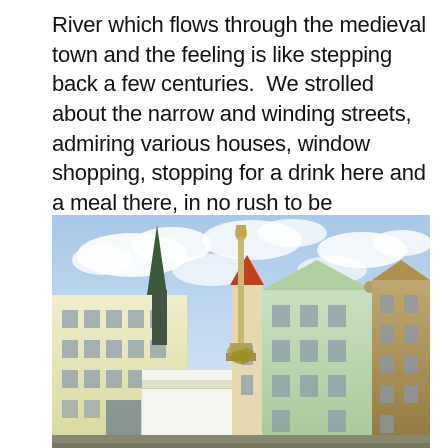River which flows through the medieval town and the feeling is like stepping back a few centuries.  We strolled about the narrow and winding streets, admiring various houses, window shopping, stopping for a drink here and a meal there, in no rush to be anywhere but exactly where we were.
[Figure (photo): A photo of a historic town square with European-style buildings in cream and light green colors, a tall ornate column/monument in the center, a church spire on the left, and a partly cloudy blue sky above.]